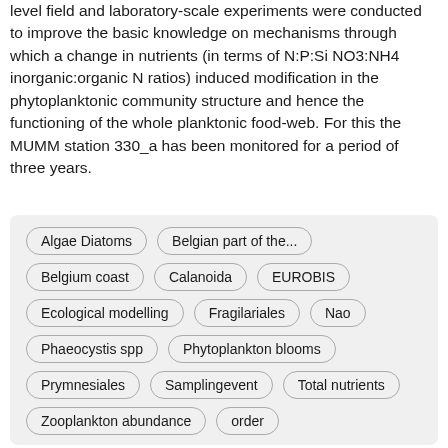level field and laboratory-scale experiments were conducted to improve the basic knowledge on mechanisms through which a change in nutrients (in terms of N:P:Si NO3:NH4 inorganic:organic N ratios) induced modification in the phytoplanktonic community structure and hence the functioning of the whole planktonic food-web. For this the MUMM station 330_a has been monitored for a period of three years.
Algae Diatoms
Belgian part of the...
Belgium coast
Calanoida
EUROBIS
Ecological modelling
Fragilariales
Nao
Phaeocystis spp
Phytoplankton blooms
Prymnesiales
Samplingevent
Total nutrients
Zooplankton abundance
order